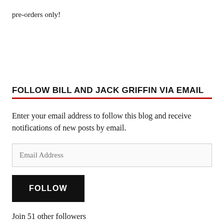pre-orders only!
FOLLOW BILL AND JACK GRIFFIN VIA EMAIL
Enter your email address to follow this blog and receive notifications of new posts by email.
Email Address
FOLLOW
Join 51 other followers